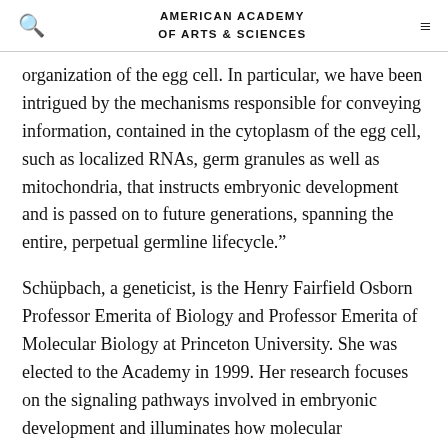AMERICAN ACADEMY OF ARTS & SCIENCES
organization of the egg cell. In particular, we have been intrigued by the mechanisms responsible for conveying information, contained in the cytoplasm of the egg cell, such as localized RNAs, germ granules as well as mitochondria, that instructs embryonic development and is passed on to future generations, spanning the entire, perpetual germline lifecycle.”
Schüpbach, a geneticist, is the Henry Fairfield Osborn Professor Emerita of Biology and Professor Emerita of Molecular Biology at Princeton University. She was elected to the Academy in 1999. Her research focuses on the signaling pathways involved in embryonic development and illuminates how molecular mechanisms determine the major axis of the fruit fly embryo. Schüpbach’s discoveries